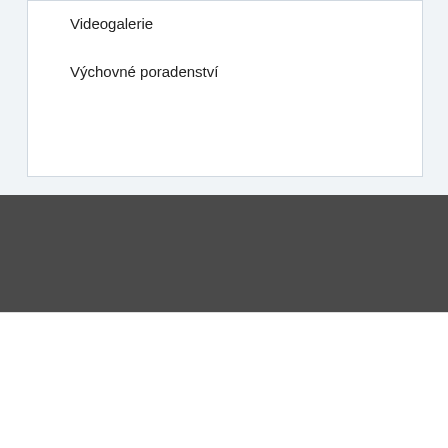Videogalerie
Výchovné poradenství
Správce pořizuje fotografie a videa z pořádaných akcí za účelem prezentace akce  a informování veřejnosti o činnosti organizace jako veřejné instituce, a to na základě právního titulu veřejného
Tato internetová stránka používá soubory cookies. Pokračováním v prohlížení této internetové stránky nebo kliknutím na tlačítko "Souhlasím", souhlasíte s použitím souborů cookies .
Nastavení
Přijmout vše